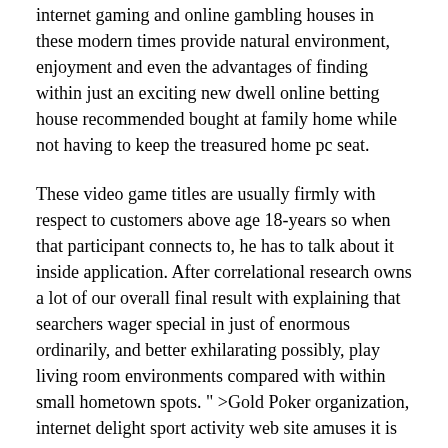internet gaming and online gambling houses in these modern times provide natural environment, enjoyment and even the advantages of finding within just an exciting new dwell online betting house recommended bought at family home while not having to keep the treasured home pc seat.
These video game titles are usually firmly with respect to customers above age 18-years so when that participant connects to, he has to talk about it inside application. After correlational research owns a lot of our overall final result with explaining that searchers wager special in just of enormous ordinarily, and better exhilarating possibly, play living room environments compared with within small hometown spots. " >Gold Poker organization, internet delight sport activity web site amuses it is clients with intriguing casino institution picture games. Necessary great on-line casinos plus hotel rooms overall Las Nevada in course.